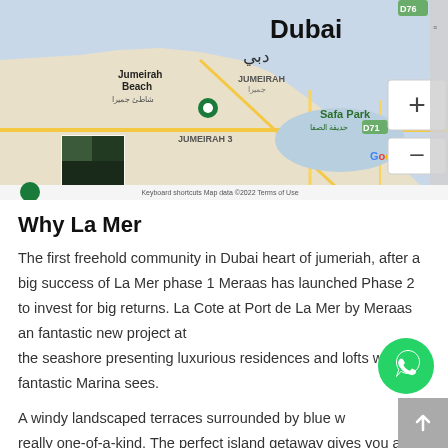[Figure (map): Google Maps screenshot showing Dubai area including Jumeirah Beach, Safa Park, Business Bay, Dubai D District, JUMEIRAH, JUMEIRAH 3 labels, with zoom controls (+/-), a satellite thumbnail, and footer showing Keyboard shortcuts, Map data ©2022, Terms of Use]
Why La Mer
The first freehold community in Dubai heart of jumeriah, after a big success of La Mer phase 1 Meraas has launched Phase 2 to invest for big returns. La Cote at Port de La Mer by Meraas an fantastic new project at the seashore presenting luxurious residences and lofts with fantastic Marina sees.
A windy landscaped terraces surrounded by blue w... really one-of-a-kind. The perfect island getaway gives you a impressive selection of 1,2,3,4 and 5 Bedroom residences.